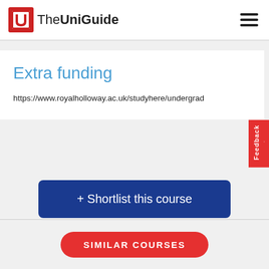TheUniGuide
Extra funding
https://www.royalholloway.ac.uk/studyhere/undergrad
+ Shortlist this course
More course information from the university
SIMILAR COURSES